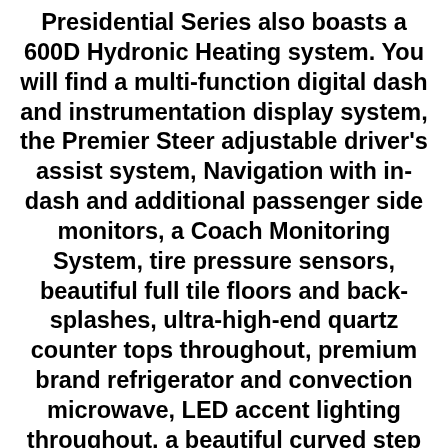Presidential Series also boasts a 600D Hydronic Heating system. You will find a multi-function digital dash and instrumentation display system, the Premier Steer adjustable driver's assist system, Navigation with in-dash and additional passenger side monitors, a Coach Monitoring System, tire pressure sensors, beautiful full tile floors and back-splashes, ultra-high-end quartz counter tops throughout, premium brand refrigerator and convection microwave, LED accent lighting throughout, a beautiful curved step entry way, Braun extra heavy duty power entrance steps, a designer entry door with LED accent lighting, 4K OLED TVs where applicable